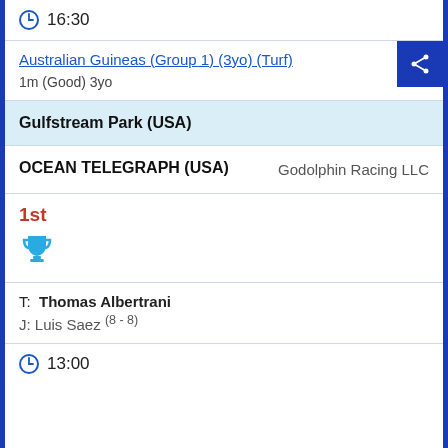16:30
Australian Guineas (Group 1) (3yo) (Turf)
1m (Good) 3yo
Gulfstream Park (USA)
OCEAN TELEGRAPH (USA)   Godolphin Racing LLC
1st
[Figure (illustration): Trophy icon in cyan/blue color]
T: Thomas Albertrani
J: Luis Saez (8 - 8)
13:00